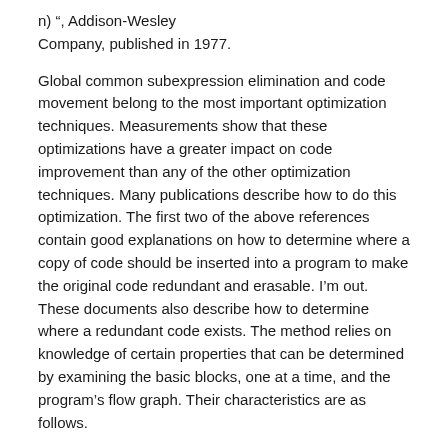n) ", Addison-Wesley Company, published in 1977.
Global common subexpression elimination and code movement belong to the most important optimization techniques. Measurements show that these optimizations have a greater impact on code improvement than any of the other optimization techniques. Many publications describe how to do this optimization. The first two of the above references contain good explanations on how to determine where a copy of code should be inserted into a program to make the original code redundant and erasable. I'm out. These documents also describe how to determine where a redundant code exists. The method relies on knowledge of certain properties that can be determined by examining the basic blocks, one at a time, and the program's flow graph. Their characteristics are as follows.
DEX downward exposed expres sions) A set of computations that, when executed at the end of a basic block, give the same result as when they were executed "in their place", ie where they were in the basic block.